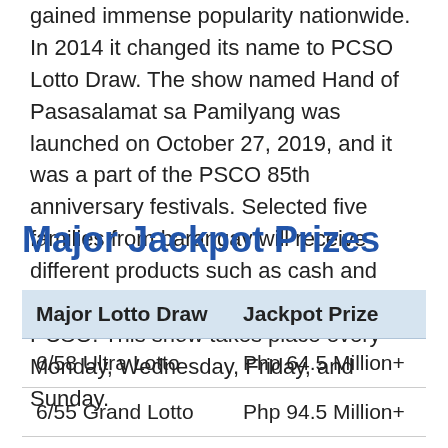gained immense popularity nationwide. In 2014 it changed its name to PCSO Lotto Draw. The show named Hand of Pasasalamat sa Pamilyang was launched on October 27, 2019, and it was a part of the PSCO 85th anniversary festivals. Selected five families from barangay will receive different products such as cash and food essentials from the sponsor of PCSO. This show takes place every Monday, Wednesday, Friday, and Sunday.
Major Jackpot Prizes
| Major Lotto Draw | Jackpot Prize |
| --- | --- |
| 6/58 Ultra Lotto | Php 64.5 Million+ |
| 6/55 Grand Lotto | Php 94.5 Million+ |
| 6/49 Super Lotto | Php 15.8 Million+ |